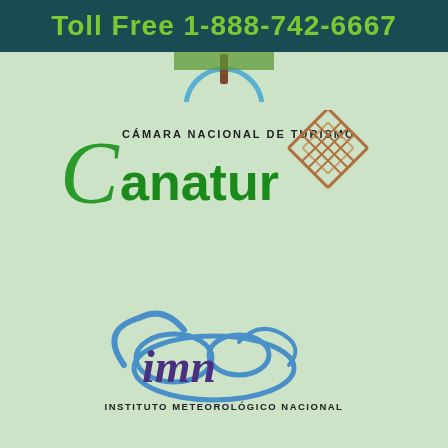Toll Free 1-888-742-6667
[Figure (logo): Canatur logo: CÁMARA NACIONAL DE TURISMO with stylized green C and brown diamond grid graphic]
[Figure (logo): IMN logo: stylized blue cloud with purple imn lettering, INSTITUTO METEOROLÓGICO NACIONAL text below]